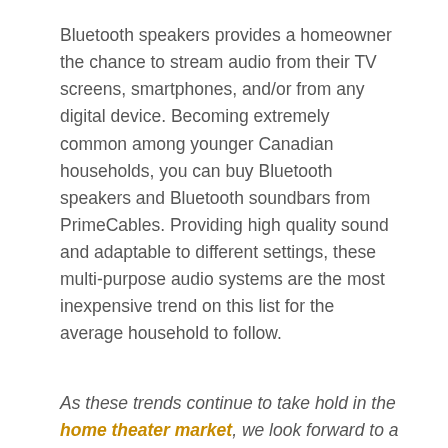Bluetooth speakers provides a homeowner the chance to stream audio from their TV screens, smartphones, and/or from any digital device. Becoming extremely common among younger Canadian households, you can buy Bluetooth speakers and Bluetooth soundbars from PrimeCables. Providing high quality sound and adaptable to different settings, these multi-purpose audio systems are the most inexpensive trend on this list for the average household to follow.
As these trends continue to take hold in the home theater market, we look forward to a future of increasing integration between home theater tech and smart home tech. It's so exciting to see the